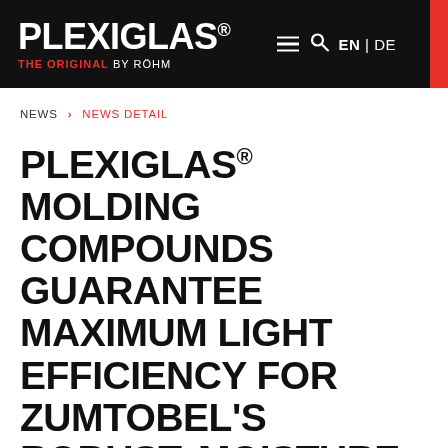PLEXIGLAS® THE ORIGINAL BY RÖHM | EN | DE
NEWS > NEWS DETAIL
PLEXIGLAS® MOLDING COMPOUNDS GUARANTEE MAXIMUM LIGHT EFFICIENCY FOR ZUMTOBEL'S ROBUST, MOISTURE-PROOF AMPHIBIA PM LUMINAIRE